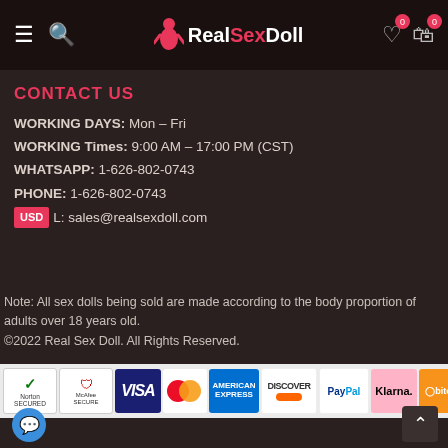RealSexDoll — navigation header with logo, hamburger menu, search, wishlist and cart icons
CONTACT US
WORKING DAYS: Mon – Fri
WORKING Times: 9:00 AM – 17:00 PM (CST)
WHATSAPP: 1-626-802-0743
PHONE: 1-626-802-0743
EMAIL: sales@realsexdoll.com
Note: All sex dolls being sold are made according to the body proportion of adults over 18 years old.
©2022 Real Sex Doll. All Rights Reserved.
[Figure (other): Payment method logos: Norton Secured, McAfee Secure, VISA, Mastercard, American Express, Discover, PayPal, Klarna, Bitcoin]